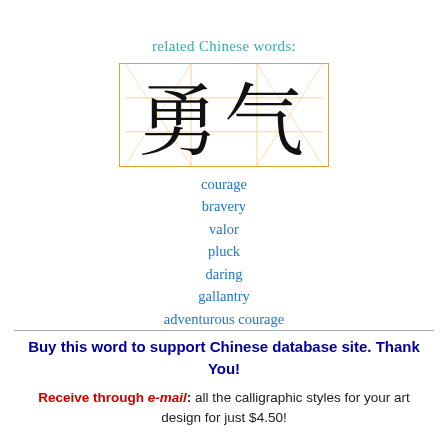related Chinese words:
[Figure (illustration): Two large Chinese characters 勇气 (courage/bravery) displayed in black calligraphic style inside an orange grid box showing stroke guide lines.]
courage
bravery
valor
pluck
daring
gallantry
adventurous courage
Buy this word to support Chinese database site. Thank You!
Receive through e-mail: all the calligraphic styles for your art design for just $4.50!